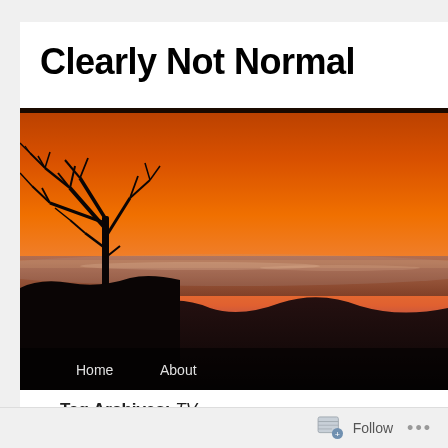Clearly Not Normal
[Figure (photo): A sunset landscape photo showing an orange-red sky with silhouettes of bare trees on the left and a dark tree line at the bottom. Navigation links 'Home' and 'About' appear at the bottom of the image overlay.]
Tag Archives: TV
Follow ...